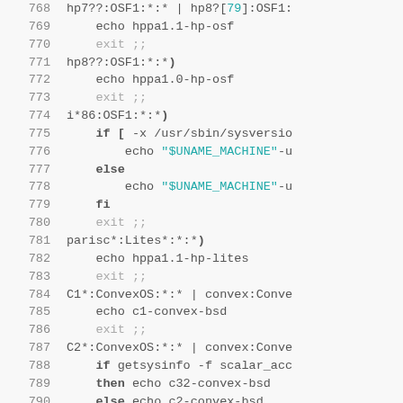Shell script source code lines 768-797 showing system detection case statements for various OS/hardware combinations including HP, i86, parisc, and Convex systems.